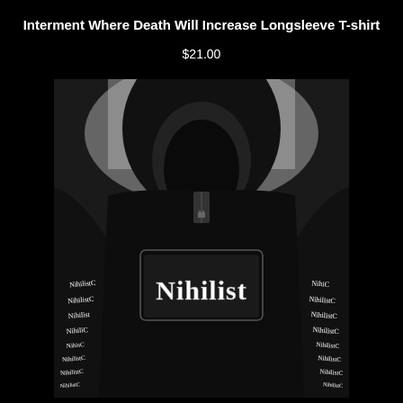Interment Where Death Will Increase Longsleeve T-shirt
$21.00
[Figure (photo): Black hoodie/longsleeve product photo showing a person wearing a black garment with 'Nihilist' printed in gothic/metal style lettering on the chest and repeated down both sleeves in white text on black fabric]